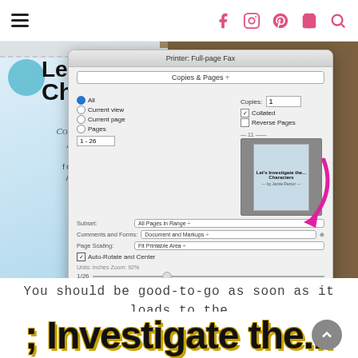Navigation bar with hamburger menu and social icons (Facebook, Instagram, Pinterest, Cart, Search)
[Figure (screenshot): Screenshot of a Mac print dialog overlaid on a book cover for 'Let's Investigate Characters' by Jamie Rector. The dialog shows Copies & Pages settings with All pages selected, 1 copy, Collated checked. A magenta arrow points to the Print button.]
You should be good-to-go as soon as it loads to the printer!  :)
; Investigate the...